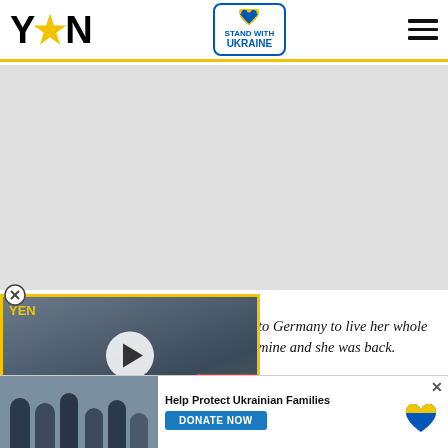YEN — Stand with Ukraine — Navigation
[Figure (screenshot): Gray advertisement area placeholder]
[Figure (screenshot): YEN video player showing man at road with barrier, overlay title: MAJOR SINKHOLE DEVELOPS ON THE MADINA-TETTEH QUARSHIE HIGHWAY. Play button visible. Yellow border.]
to Germany to live her whole mine and she was back.
[Figure (infographic): Help Protect Ukrainian Families banner with photo of people, Donate Now button, and Ukraine heart logo]